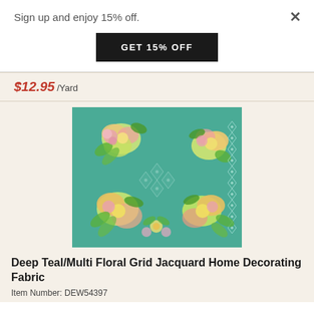Sign up and enjoy 15% off.
GET 15% OFF
×
$12.95 /Yard
[Figure (photo): Deep teal fabric with multi-color floral and grid jacquard pattern — yellow, pink, green flowers on teal background with decorative lattice border]
Deep Teal/Multi Floral Grid Jacquard Home Decorating Fabric
Item Number: DEW54397